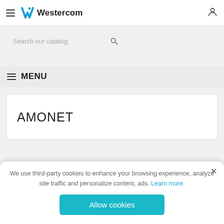Westercom
[Figure (screenshot): Search bar with placeholder text 'Search our catalog' and a magnifying glass icon]
MENU
AMONET
We use third-party cookies to enhance your browsing experience, analyze site traffic and personalize content, ads. Learn more.